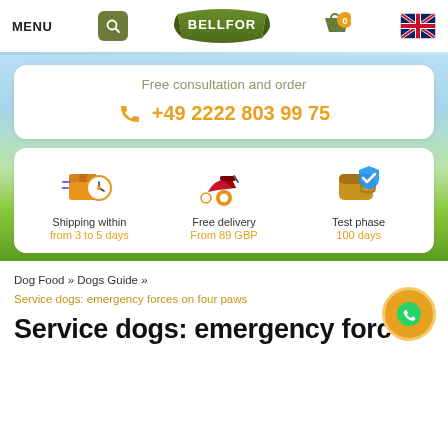MENU | BELLFOR | 0 | UK Flag
Free consultation and order
+49 2222 803 99 75
Shipping within
from 3 to 5 days
Free delivery
From 89 GBP
Test phase
100 days
Dog Food » Dogs Guide »
Service dogs: emergency forces on four paws
Service dogs: emergency forc...